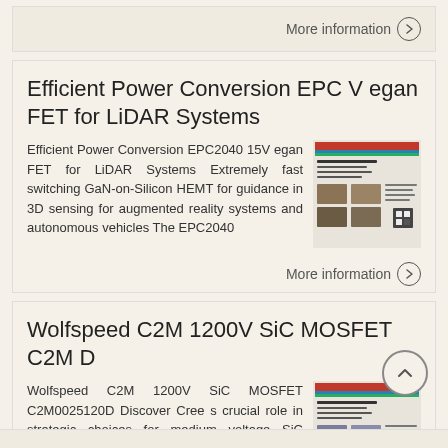More information →
Efficient Power Conversion EPC V egan FET for LiDAR Systems
Efficient Power Conversion EPC2040 15V egan FET for LiDAR Systems Extremely fast switching GaN-on-Silicon HEMT for guidance in 3D sensing for augmented reality systems and autonomous vehicles The EPC2040
[Figure (screenshot): Thumbnail image of a document page about Efficient Power Conversion EPC2040]
More information →
Wolfspeed C2M 1200V SiC MOSFET C2M D
Wolfspeed C2M 1200V SiC MOSFET C2M0025120D Discover Cree s crucial role in strategic choices for medium voltage SiC MOSFETs SiC MOSFET penetration in industrial applications is expanding, but not as fast
[Figure (screenshot): Thumbnail image of a document page about Wolfspeed C2M 1200V SiC MOSFET]